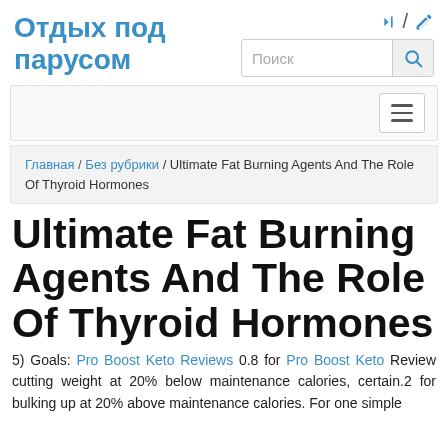Отдых под парусом
Поиск
Navigation menu
Главная / Без рубрики / Ultimate Fat Burning Agents And The Role Of Thyroid Hormones
Ultimate Fat Burning Agents And The Role Of Thyroid Hormones
5) Goals: Pro Boost Keto Reviews 0.8 for Pro Boost Keto Review cutting weight at 20% below maintenance calories, certain.2 for bulking up at 20% above maintenance calories. For one simple